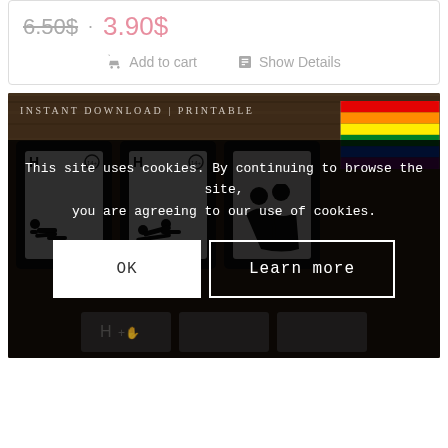6.50$ · 3.90$
Add to cart
Show Details
[Figure (screenshot): E-commerce product listing showing printable card game with cookie consent overlay. Three card thumbnails visible with adult pictogram icons on dark wood background. Rainbow flag visible top right. Cookie banner reads: This site uses cookies. By continuing to browse the site, you are agreeing to our use of cookies. OK and Learn more buttons shown.]
This site uses cookies. By continuing to browse the site, you are agreeing to our use of cookies.
OK
Learn more